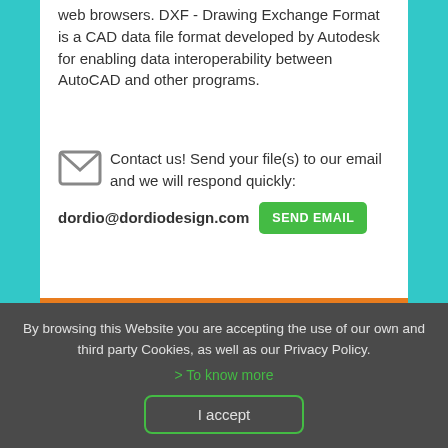web browsers. DXF - Drawing Exchange Format is a CAD data file format developed by Autodesk for enabling data interoperability between AutoCAD and other programs.
Contact us! Send your file(s) to our email and we will respond quickly:
dordio@dordiodesign.com   SEND EMAIL
[Figure (illustration): Orange background with a white curved shape (bezier tool path with control handles visible — small squares at curve anchor and control points)]
By browsing this Website you are accepting the use of our own and third party Cookies, as well as our Privacy Policy.
> To know more
I accept